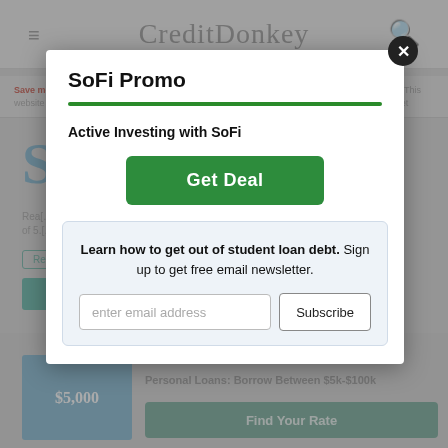[Figure (screenshot): Background of CreditDonkey website with header logo, navigation, and partially visible page content showing student loan comparison content and personal loans section. Grayed out behind modal overlay.]
SoFi Promo
Active Investing with SoFi
Get Deal
Learn how to get out of student loan debt. Sign up to get free email newsletter.
enter email address
Subscribe